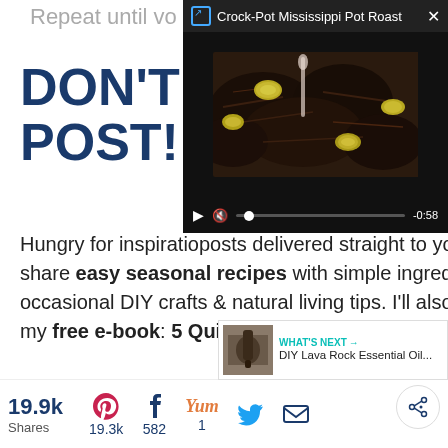Repeat until vo
DON'T M
POST!
[Figure (screenshot): Video overlay showing Crock-Pot Mississippi Pot Roast with video controls, title bar, and close button. Video thumbnail shows shredded meat with pepperoncini peppers. Time remaining shows -0:58.]
Hungry for inspiratio... posts delivered straight to your inbox! I share easy seasonal recipes with simple ingredients + occasional DIY crafts & natural living tips. I'll also send you my free e-book: 5 Quick & Easy Slow Cooker Recipes!
First name
[Figure (screenshot): WHAT'S NEXT panel showing DIY Lava Rock Essential Oil... with thumbnail]
19.9k Shares  19.3k  582  1